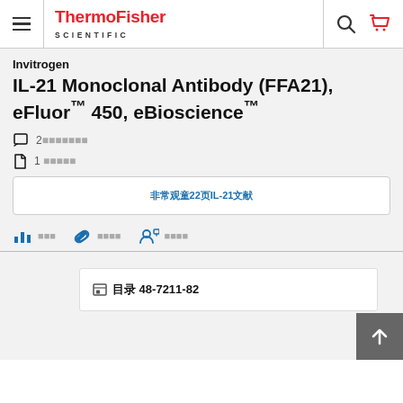ThermoFisher SCIENTIFIC
Invitrogen
IL-21 Monoclonal Antibody (FFA21), eFluor™ 450, eBioscience™
2 reviews
1 citation
查看第22页IL-21文献
引用  链接  专家问答
目录 48-7211-82